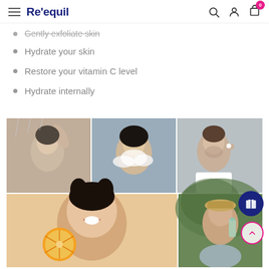Re'equil
Gently exfoliate skin
Hydrate your skin
Restore your vitamin C level
Hydrate internally
[Figure (photo): Collage of five skincare/wellness photos: woman showering, woman washing face with foam, man applying cream to cheek, woman smiling holding orange slice, man drinking water outdoors with hat]